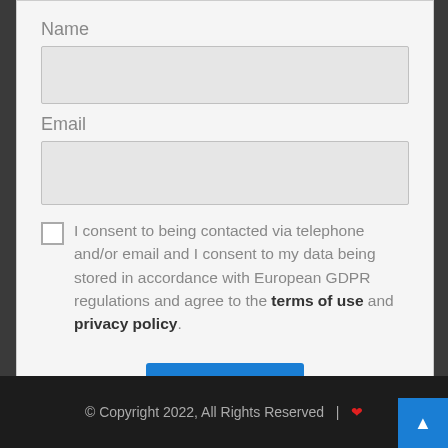Name
Email
I consent to being contacted via telephone and/or email and I consent to my data being stored in accordance with European GDPR regulations and agree to the terms of use and privacy policy.
Submit
© Copyright 2022, All Rights Reserved  |  ♥